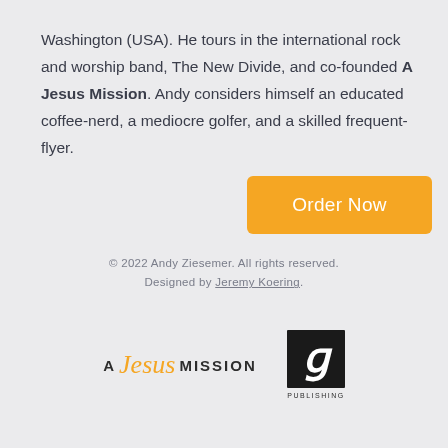Washington (USA). He tours in the international rock and worship band, The New Divide, and co-founded A Jesus Mission. Andy considers himself an educated coffee-nerd, a mediocre golfer, and a skilled frequent-flyer.
[Figure (other): Orange 'Order Now' button]
© 2022 Andy Ziesemer. All rights reserved. Designed by Jeremy Koering.
[Figure (logo): A Jesus Mission logo and Publishing logo side by side]